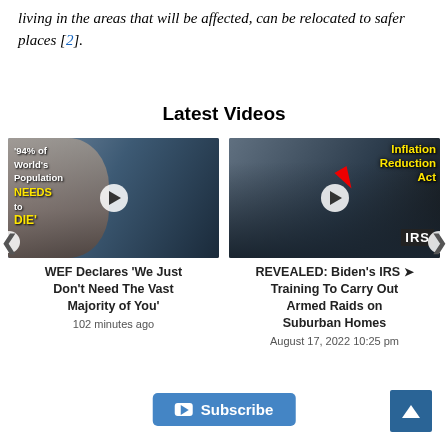living in the areas that will be affected, can be relocated to safer places [2].
Latest Videos
[Figure (screenshot): Thumbnail for video: WEF Declares 'We Just Don't Need The Vast Majority of You'. Shows an older man and text '94% of World's Population NEEDS to DIE' in yellow.]
WEF Declares 'We Just Don't Need The Vast Majority of You'
102 minutes ago
[Figure (screenshot): Thumbnail for video: REVEALED: Biden's IRS Training To Carry Out Armed Raids on Suburban Homes. Shows people in tactical gear with IRS logo and 'Inflation Reduction Act' text.]
REVEALED: Biden's IRS Training To Carry Out Armed Raids on Suburban Homes
August 17, 2022 10:25 pm